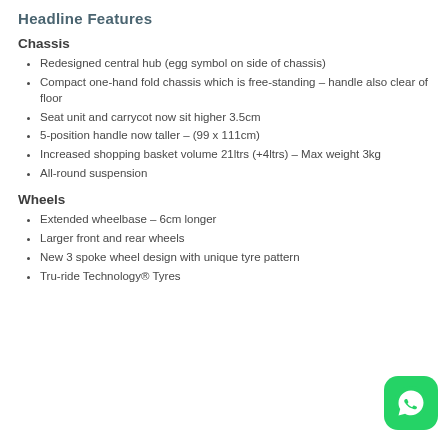Headline Features
Chassis
Redesigned central hub (egg symbol on side of chassis)
Compact one-hand fold chassis which is free-standing – handle also clear of floor
Seat unit and carrycot now sit higher 3.5cm
5-position handle now taller – (99 x 111cm)
Increased shopping basket volume 21ltrs (+4ltrs) – Max weight 3kg
All-round suspension
Wheels
Extended wheelbase – 6cm longer
Larger front and rear wheels
New 3 spoke wheel design with unique tyre pattern
Tru-ride Technology® Tyres